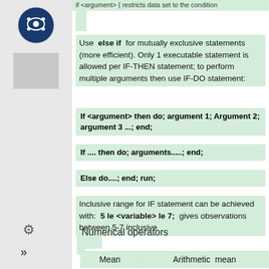if <argument> { restricts data set to the condition
Use else if for mutually exclusive statements (more efficient). Only 1 executable statement is allowed per IF-THEN statement; to perform multiple arguments then use IF-DO statement:
Inclusive range for IF statement can be achieved with: 5 le <variable> le 7; gives observations between 5-7 inclusive
Numerical operators
| Mean | Arithmetic mean |
| --- | --- |